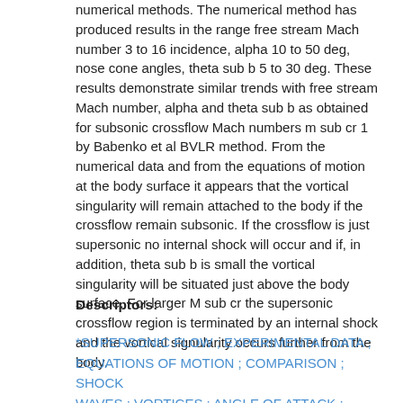numerical methods. The numerical method has produced results in the range free stream Mach number 3 to 16 incidence, alpha 10 to 50 deg, nose cone angles, theta sub b 5 to 30 deg. These results demonstrate similar trends with free stream Mach number, alpha and theta sub b as obtained for subsonic crossflow Mach numbers m sub cr 1 by Babenko et al BVLR method. From the numerical data and from the equations of motion at the body surface it appears that the vortical singularity will remain attached to the body if the crossflow remain subsonic. If the crossflow is just supersonic no internal shock will occur and if, in addition, theta sub b is small the vortical singularity will be situated just above the body surface. For larger M sub cr the supersonic crossflow region is terminated by an internal shock and the vortical signularity occurs further from the body.
Descriptors:
*SUPERSONIC FLOW ; EXPERIMENTAL DATA ; EQUATIONS OF MOTION ; COMPARISON ; SHOCK WAVES ; VORTICES ; ANGLE OF ATTACK ; MACH